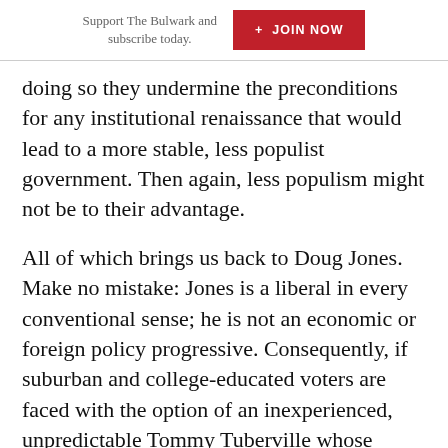Support The Bulwark and subscribe today.  + JOIN NOW
doing so they undermine the preconditions for any institutional renaissance that would lead to a more stable, less populist government. Then again, less populism might not be to their advantage.
All of which brings us back to Doug Jones. Make no mistake: Jones is a liberal in every conventional sense; he is not an economic or foreign policy progressive. Consequently, if suburban and college-educated voters are faced with the option of an inexperienced, unpredictable Tommy Tuberville whose loyalty is to his financial backers and an erratic president or six more years of